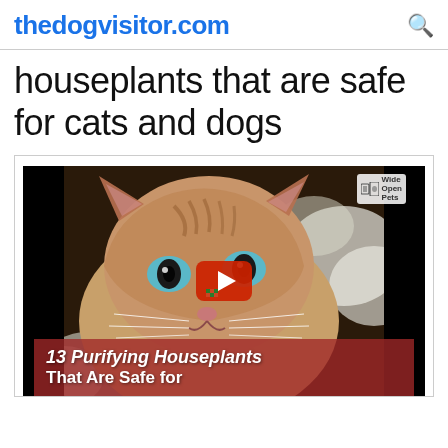thedogvisitor.com
houseplants that are safe for cats and dogs
[Figure (screenshot): Video thumbnail showing a close-up of a tabby cat with blue eyes sniffing white flowers, with a YouTube-style play button overlay and a text overlay reading '13 Purifying Houseplants That Are Safe for' over a dark red/maroon background. A 'Wide Open Pets' logo badge appears in the top-right corner of the video.]